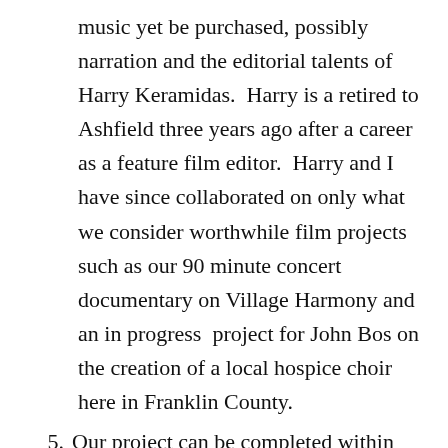music yet be purchased, possibly narration and the editorial talents of Harry Keramidas.  Harry is a retired to Ashfield three years ago after a career as a feature film editor.  Harry and I have since collaborated on only what we consider worthwhile film projects such as our 90 minute concert documentary on Village Harmony and an in progress  project for John Bos on the creation of a local hospice choir here in Franklin County.
5. Our project can be completed within the award amount because most of the footage is shot, we own the equipment and have the technical experience to finish our film.
6. The film would be available for screening,